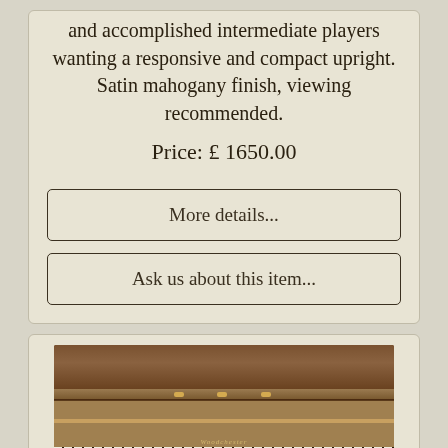and accomplished intermediate players wanting a responsive and compact upright. Satin mahogany finish, viewing recommended.
Price: £ 1650.00
More details...
Ask us about this item...
[Figure (photo): Close-up photograph of a walnut/mahogany upright piano showing the top lid, music desk with gold pins, and the keyboard area with black and white keys.]